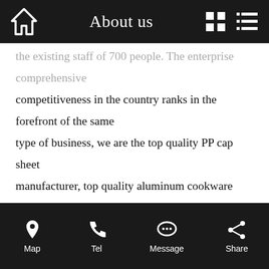About us
the existing staff of 700 people. The enterprise comprehensive competitiveness in the country ranks in the forefront of the same type of business, we are the top quality PP cap sheet manufacturer, top quality aluminum cookware circle manufacturer, top quality aluminum brazing sheet strip, top quality anodizing coil sheet manufacuer, top quality aluminum plate manufactuer, and product range cover 1000 series, 2000 series, 3000 series, 4000 series, 5000 series, 6000 series, 7000 series and 8000 series, Our
Map  Tel  Message  Share